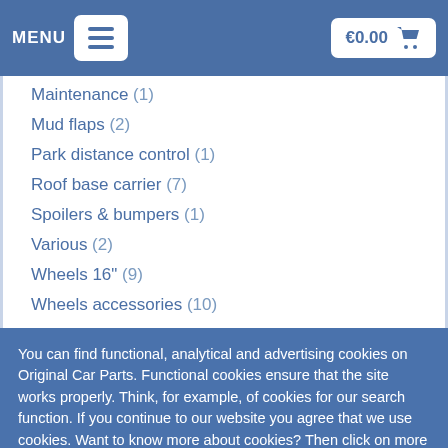MENU  €0.00
Maintenance (1)
Mud flaps (2)
Park distance control (1)
Roof base carrier (7)
Spoilers & bumpers (1)
Various (2)
Wheels 16" (9)
Wheels accessories (10)
You can find functional, analytical and advertising cookies on Original Car Parts. Functional cookies ensure that the site works properly. Think, for example, of cookies for our search function. If you continue to our website you agree that we use cookies. Want to know more about cookies? Then click on more information
✔ Close  More information